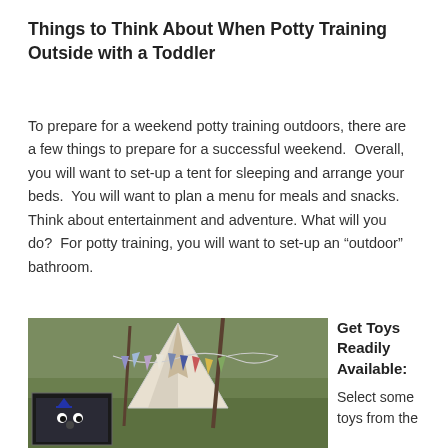Things to Think About When Potty Training Outside with a Toddler
To prepare for a weekend potty training outdoors, there are a few things to prepare for a successful weekend.  Overall, you will want to set-up a tent for sleeping and arrange your beds.  You will want to plan a menu for meals and snacks.  Think about entertainment and adventure. What will you do?  For potty training, you will want to set-up an “outdoor” bathroom.
[Figure (photo): Outdoor scene showing a small white tent or teepee decorated with colorful bunting flags in a grassy area, with a small inset photo in the lower left corner showing a dark-colored stuffed animal or toy.]
Get Toys Readily Available:
Select some toys from the